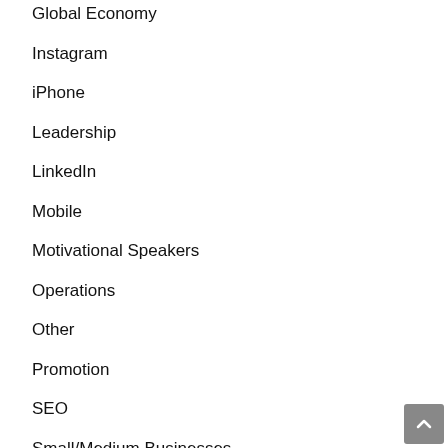Global Economy
Instagram
iPhone
Leadership
LinkedIn
Mobile
Motivational Speakers
Operations
Other
Promotion
SEO
Small/Medium Businesses